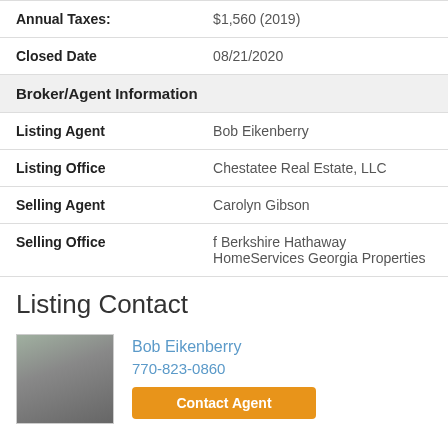| Annual Taxes: | $1,560 (2019) |
| Closed Date | 08/21/2020 |
| Broker/Agent Information |  |
| Listing Agent | Bob Eikenberry |
| Listing Office | Chestatee Real Estate, LLC |
| Selling Agent | Carolyn Gibson |
| Selling Office | f Berkshire Hathaway HomeServices Georgia Properties |
Listing Contact
Bob Eikenberry
770-823-0860
[Figure (photo): Headshot photo of Bob Eikenberry, a man with gray hair outdoors]
Contact Agent